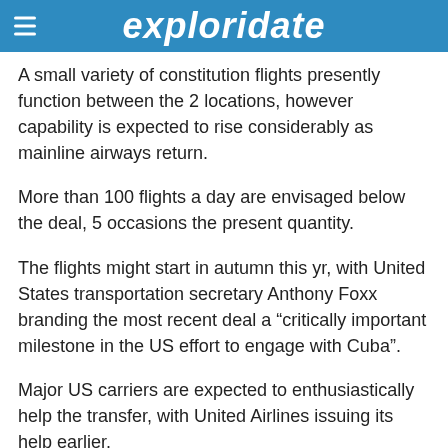exploridate
A small variety of constitution flights presently function between the 2 locations, however capability is expected to rise considerably as mainline airways return.
More than 100 flights a day are envisaged below the deal, 5 occasions the present quantity.
The flights might start in autumn this yr, with United States transportation secretary Anthony Foxx branding the most recent deal a “critically important milestone in the US effort to engage with Cuba”.
Major US carriers are expected to enthusiastically help the transfer, with United Airlines issuing its help earlier.
A press release from the service learn: “United Airlines today applauded the historic signing by representatives of the